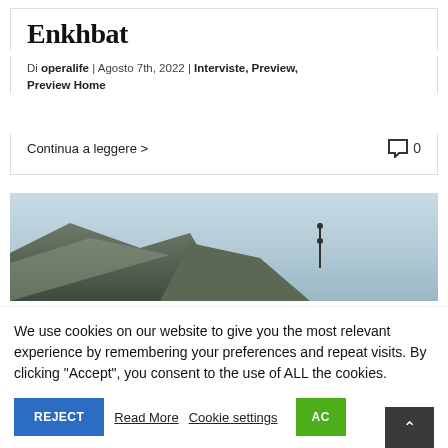Enkhbat
Di operalife | Agosto 7th, 2022 | Interviste, Preview, Preview Home
Continua a leggere >
[Figure (photo): Landscape photo showing mountainous terrain with a light hazy sky, and a thin vertical pole or mast visible in the middle-right area.]
We use cookies on our website to give you the most relevant experience by remembering your preferences and repeat visits. By clicking “Accept”, you consent to the use of ALL the cookies.
REJECT   Read More   Cookie settings   ACCEPT